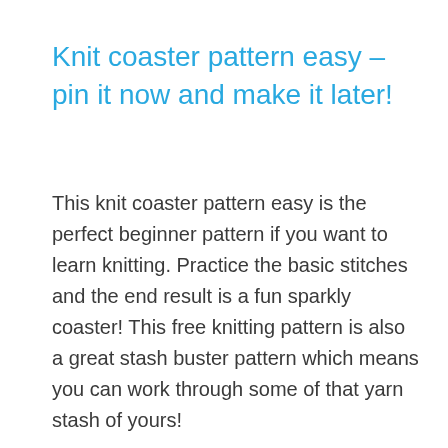Knit coaster pattern easy – pin it now and make it later!
This knit coaster pattern easy is the perfect beginner pattern if you want to learn knitting. Practice the basic stitches and the end result is a fun sparkly coaster! This free knitting pattern is also a great stash buster pattern which means you can work through some of that yarn stash of yours!